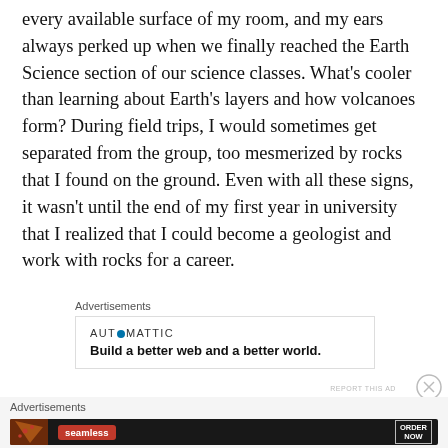every available surface of my room, and my ears always perked up when we finally reached the Earth Science section of our science classes. What's cooler than learning about Earth's layers and how volcanoes form? During field trips, I would sometimes get separated from the group, too mesmerized by rocks that I found on the ground. Even with all these signs, it wasn't until the end of my first year in university that I realized that I could become a geologist and work with rocks for a career.
[Figure (other): Automattic advertisement: 'Build a better web and a better world.' with Automattic logo]
[Figure (other): Seamless food delivery advertisement banner with pizza image, Seamless pill logo, and ORDER NOW button]